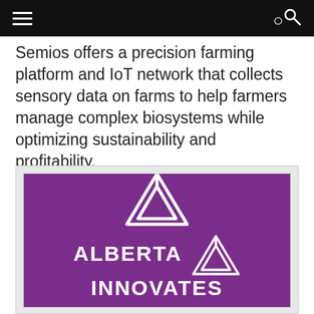Semios offers a precision farming platform and IoT network that collects sensory data on farms to help farmers manage complex biosystems while optimizing sustainability and profitability.
[Figure (logo): Alberta Innovates logo — white text and triangular icon on a purple background]